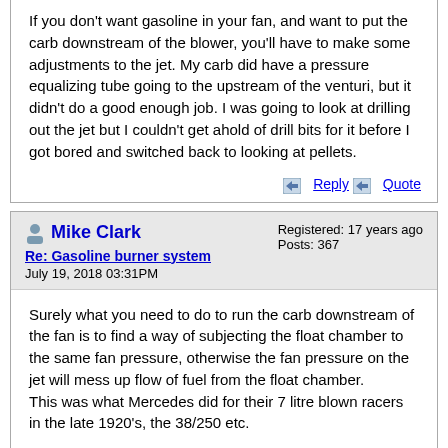If you don't want gasoline in your fan, and want to put the carb downstream of the blower, you'll have to make some adjustments to the jet. My carb did have a pressure equalizing tube going to the upstream of the venturi, but it didn't do a good enough job. I was going to look at drilling out the jet but I couldn't get ahold of drill bits for it before I got bored and switched back to looking at pellets.
Reply   Quote
Mike Clark
Re: Gasoline burner system
July 19, 2018 03:31PM
Registered: 17 years ago
Posts: 367
Surely what you need to do to run the carb downstream of the fan is to find a way of subjecting the float chamber to the same fan pressure, otherwise the fan pressure on the jet will mess up flow of fuel from the float chamber.
This was what Mercedes did for their 7 litre blown racers in the late 1920's, the 38/250 etc.

Mike